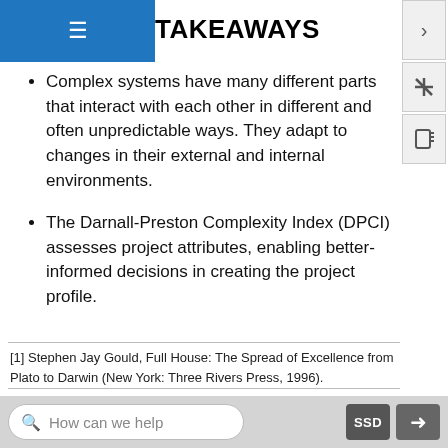TAKEAWAYS
Complex systems have many different parts that interact with each other in different and often unpredictable ways. They adapt to changes in their external and internal environments.
The Darnall-Preston Complexity Index (DPCI) assesses project attributes, enabling better-informed decisions in creating the project profile.
[1] Stephen Jay Gould, Full House: The Spread of Excellence from Plato to Darwin (New York: Three Rivers Press, 1996).
2.4: 2.3 Complex Systems and the Darnall-Preston Complexity Index -- Project Management for